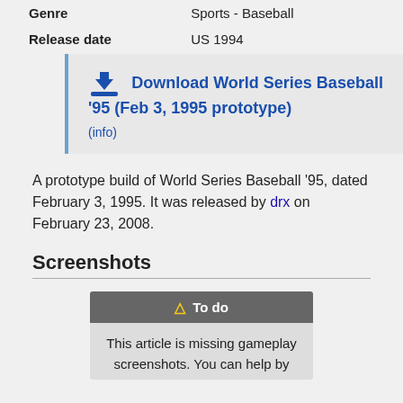| Genre | Sports - Baseball |
| Release date | US 1994 |
Download World Series Baseball '95 (Feb 3, 1995 prototype)
(info)
A prototype build of World Series Baseball '95, dated February 3, 1995. It was released by drx on February 23, 2008.
Screenshots
To do
This article is missing gameplay screenshots. You can help by